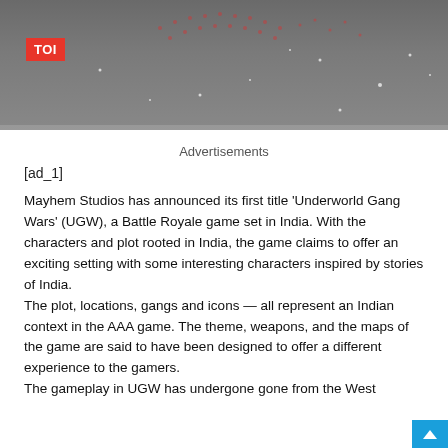[Figure (photo): Dark image with TOI (Times of India) red logo badge in top-left, dark background with light dots suggesting a night/event scene]
Advertisements
[ad_1]
Mayhem Studios has announced its first title ‘Underworld Gang Wars’ (UGW), a Battle Royale game set in India. With the characters and plot rooted in India, the game claims to offer an exciting setting with some interesting characters inspired by stories of India.
The plot, locations, gangs and icons — all represent an Indian context in the AAA game. The theme, weapons, and the maps of the game are said to have been designed to offer a different experience to the gamers.
The gameplay in UGW has undergone gone from the West...